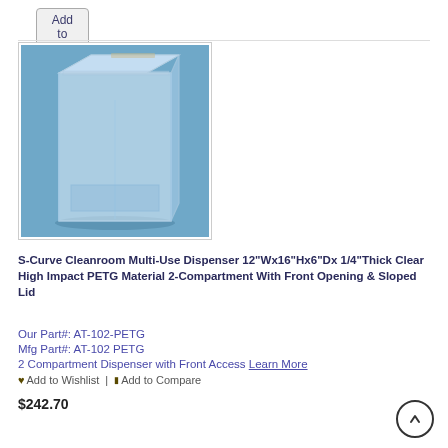Add to Cart
[Figure (photo): Clear acrylic/PETG multi-compartment dispenser box with sloped lid, shown against a blue background]
S-Curve Cleanroom Multi-Use Dispenser 12"Wx16"Hx6"Dx 1/4"Thick Clear High Impact PETG Material 2-Compartment With Front Opening & Sloped Lid
Our Part#: AT-102-PETG
Mfg Part#: AT-102 PETG
2 Compartment Dispenser with Front Access Learn More
♥ Add to Wishlist | ☰ Add to Compare
$242.70